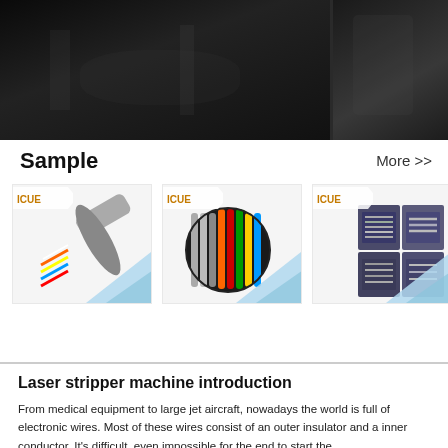[Figure (photo): Dark background photo of laser stripper machine equipment, split into two panels]
Sample
More >>
[Figure (photo): Three sample cable/wire product cards with ICUE branding logos and blue triangle design elements]
Laser stripper machine introduction
From medical equipment to large jet aircraft, nowadays the world is full of electronic wires. Most of these wires consist of an outer insulator and a inner conductor. It's difficult, even impossible for the end to start the...